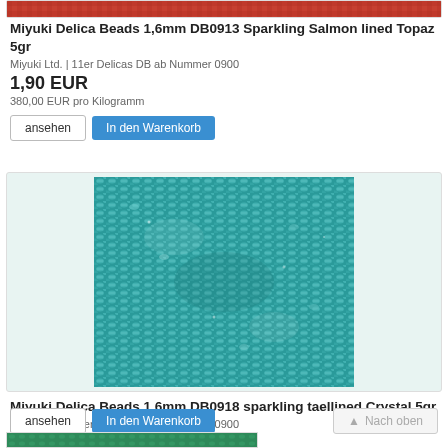[Figure (photo): Top edge of a reddish-brown Miyuki beads product image, cropped]
Miyuki Delica Beads 1,6mm DB0913 Sparkling Salmon lined Topaz 5gr
Miyuki Ltd. | 11er Delicas DB ab Nummer 0900
1,90 EUR
380,00 EUR pro Kilogramm
[Figure (photo): Close-up photo of teal/turquoise Miyuki Delica glass seed beads]
Miyuki Delica Beads 1,6mm DB0918 sparkling taellined Crystal 5gr
Miyuki Ltd. | 11er Delicas DB ab Nummer 0900
1,90 EUR
380,00 EUR pro Kilogramm
[Figure (photo): Bottom edge of another Miyuki beads product image in green/teal, cropped]